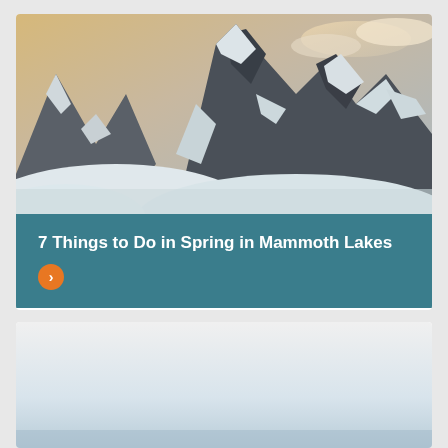[Figure (photo): Snow-covered rocky mountain peaks with dramatic rocky ridgeline, snow on slopes, and a pale sky with clouds at upper right. A rounded snow mound in the foreground.]
7 Things to Do in Spring in Mammoth Lakes
[Figure (photo): Bright overcast sky with a pale blue-grey gradient, possibly a winter landscape or open plain visible at the very bottom of the card.]